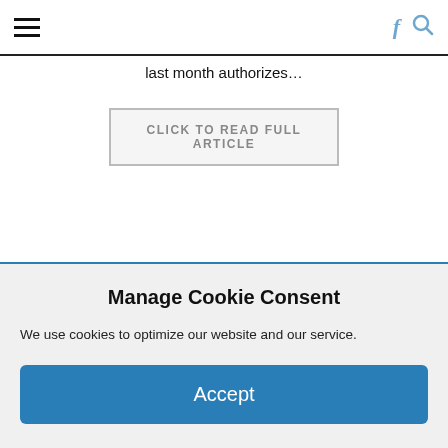Navigation bar with hamburger menu, Facebook icon, and search icon
last month authorizes…
CLICK TO READ FULL ARTICLE
Manage Cookie Consent
We use cookies to optimize our website and our service.
Accept